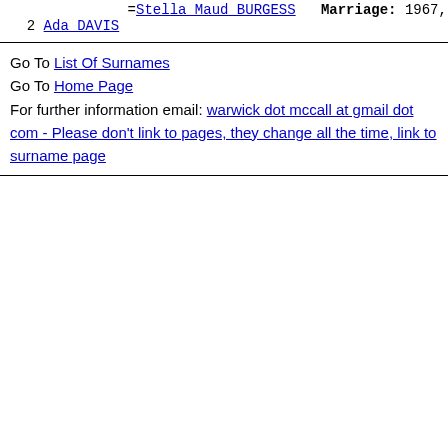=Stella Maud BURGESS   Marriage: 1967,
2 Ada DAVIS
Go To List Of Surnames
Go To Home Page
For further information email: warwick dot mccall at gmail dot com - Please don't link to pages, they change all the time, link to surname page